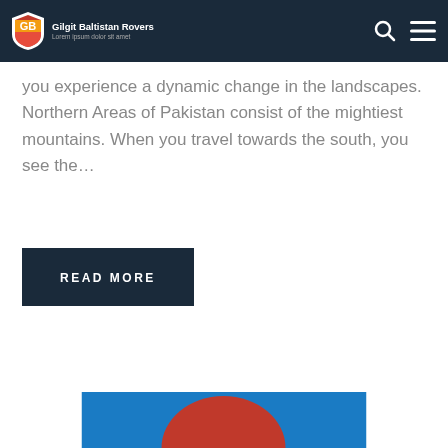Gilgit Baltistan Rovers
you experience a dynamic change in the landscapes. Northern Areas of Pakistan consist of the mightiest mountains. When you travel towards the south, you see the…
READ MORE
[Figure (illustration): Bottom portion of a logo or illustration with blue background and a sun/half-circle shape in red-orange-yellow gradient colors]